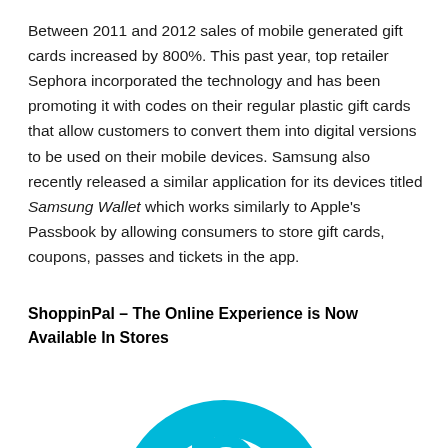Between 2011 and 2012 sales of mobile generated gift cards increased by 800%. This past year, top retailer Sephora incorporated the technology and has been promoting it with codes on their regular plastic gift cards that allow customers to convert them into digital versions to be used on their mobile devices. Samsung also recently released a similar application for its devices titled Samsung Wallet which works similarly to Apple's Passbook by allowing consumers to store gift cards, coupons, passes and tickets in the app.
ShoppinPal – The Online Experience is Now Available In Stores
[Figure (logo): ShoppinPal logo — a teal/cyan circular icon with a stylized lowercase 'p' shape cutout, partially visible at the bottom of the page]